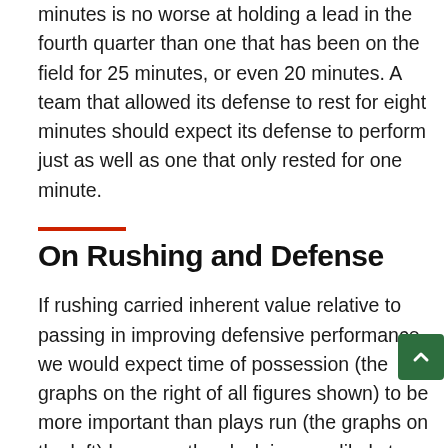minutes is no worse at holding a lead in the fourth quarter than one that has been on the field for 25 minutes, or even 20 minutes. A team that allowed its defense to rest for eight minutes should expect its defense to perform just as well as one that only rested for one minute.
On Rushing and Defense
If rushing carried inherent value relative to passing in improving defensive performance, we would expect time of possession (the graphs on the right of all figures shown) to be more important than plays run (the graphs on the left) because the clock is more likely to continue running after a rushing play. In reality, neither matters, and we can cross off another purported benefit of rushing.